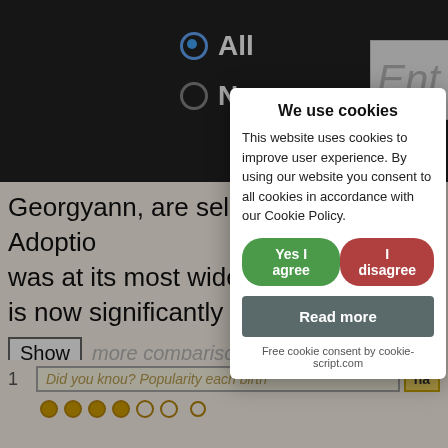[Figure (screenshot): Dark top navigation bar with radio buttons for 'All' and 'Name', and a text entry box partially showing 'Ent']
Georgyann, are seldom used. Adoption was at its most widespread during the is now significantly less (#1680, DOWN 68 becoming less stylish. Georgina is th name in this compilation.
[Figure (screenshot): Cookie consent modal dialog with title 'We use cookies', body text about cookie policy, 'Yes I agree' and 'I disagree' buttons, 'Read more' button, and footer 'Free cookie consent by cookie-script.com']
Show more comparisons ▼
Did you know? Popularity each birth
[Figure (infographic): Row of small circles/dots in gold/yellow color representing data points]